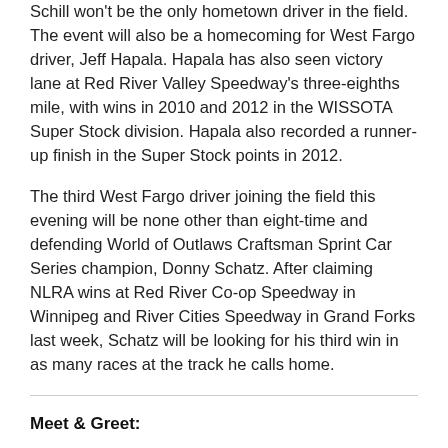Schill won't be the only hometown driver in the field. The event will also be a homecoming for West Fargo driver, Jeff Hapala. Hapala has also seen victory lane at Red River Valley Speedway's three-eighths mile, with wins in 2010 and 2012 in the WISSOTA Super Stock division. Hapala also recorded a runner-up finish in the Super Stock points in 2012.
The third West Fargo driver joining the field this evening will be none other than eight-time and defending World of Outlaws Craftsman Sprint Car Series champion, Donny Schatz. After claiming NLRA wins at Red River Co-op Speedway in Winnipeg and River Cities Speedway in Grand Forks last week, Schatz will be looking for his third win in as many races at the track he calls home.
Meet & Greet:
NLRA drivers Donny Schatz, Brad Seng, Dustin Strand